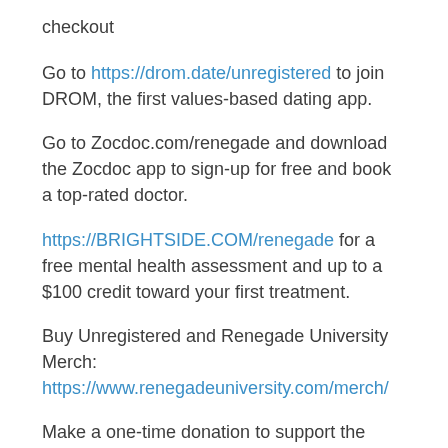checkout
Go to https://drom.date/unregistered to join DROM, the first values-based dating app.
Go to Zocdoc.com/renegade and download the Zocdoc app to sign-up for free and book a top-rated doctor.
https://BRIGHTSIDE.COM/renegade for a free mental health assessment and up to a $100 credit toward your first treatment.
Buy Unregistered and Renegade University Merch: https://www.renegadeuniversity.com/merch/
Make a one-time donation to support the podcast: http://www.thaddeusrussell.com/donate/
Shop Amazon: